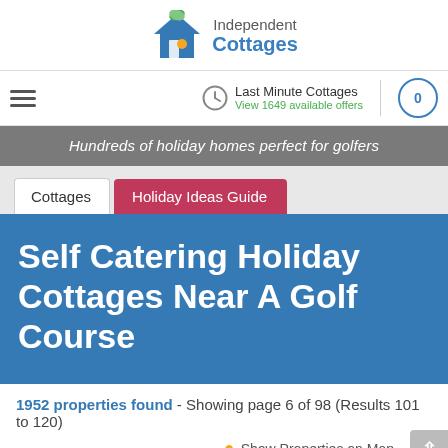[Figure (logo): Independent Cottages logo with house icon]
Last Minute Cottages - View 1649 available offers
Hundreds of holiday homes perfect for golfers
Cottages | Holiday Ideas Guide
Self Catering Holiday Cottages Near A Golf Course
1952 properties found - Showing page 6 of 98 (Results 101 to 120)
Show Properties on Map